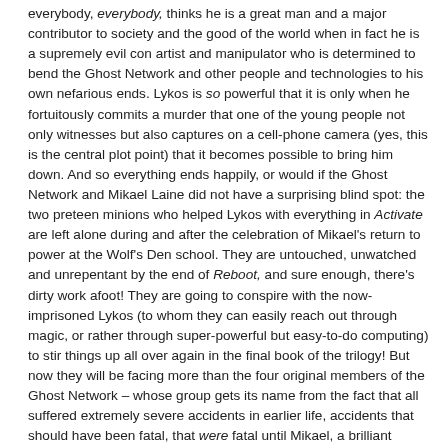everybody, everybody, thinks he is a great man and a major contributor to society and the good of the world when in fact he is a supremely evil con artist and manipulator who is determined to bend the Ghost Network and other people and technologies to his own nefarious ends. Lykos is so powerful that it is only when he fortuitously commits a murder that one of the young people not only witnesses but also captures on a cell-phone camera (yes, this is the central plot point) that it becomes possible to bring him down. And so everything ends happily, or would if the Ghost Network and Mikael Laine did not have a surprising blind spot: the two preteen minions who helped Lykos with everything in Activate are left alone during and after the celebration of Mikael's return to power at the Wolf's Den school. They are untouched, unwatched and unrepentant by the end of Reboot, and sure enough, there's dirty work afoot! They are going to conspire with the now-imprisoned Lykos (to whom they can easily reach out through magic, or rather through super-powerful but easy-to-do computing) to stir things up all over again in the final book of the trilogy! But now they will be facing more than the four original members of the Ghost Network – whose group gets its name from the fact that all suffered extremely severe accidents in earlier life, accidents that should have been fatal, that were fatal until Mikael, a brilliant surgeon, rescued them by using experimental methods that essentially turned their human brains into computers that store far more information than any human brain possibly can on its own. In the upcoming concluding book, the baddies will also have to cope with a boy named Zhou Zhou, introduced in Reboot, who possesses a more-